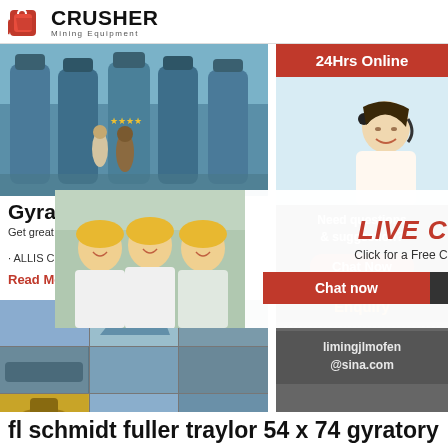[Figure (logo): Crusher Mining Equipment logo with red shopping bag icon and bold CRUSHER text]
[Figure (photo): Industrial machines (blue vertical mills) in a factory warehouse with two people]
Gyratory...
Get great d... crushers, co...
· ALLIS CHA...
Read More
[Figure (photo): Live chat popup overlay with workers in yellow helmets and chat agent with headset]
[Figure (photo): Grid of industrial mining equipment and facilities photos]
[Figure (infographic): Right sidebar: 24Hrs Online, agent photo, Need questions & suggestion, Chat Now, Enquiry, limingjlmofen@sina.com]
fl schmidt fuller traylor 54 x 74 gyratory